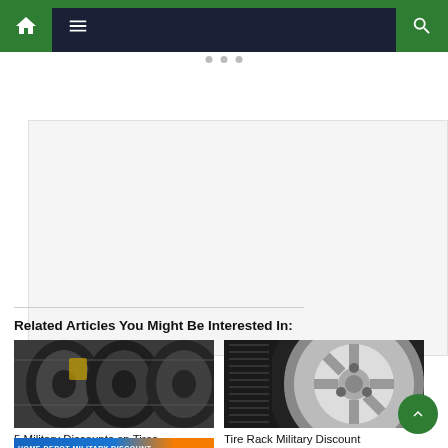Navigation bar with home, menu, and search icons
[Figure (other): Advertisement placeholder area, light gray background]
Related Articles You Might Be Interested In:
[Figure (photo): Stacked tires in a store, multiple tires visible with labels]
5 Military Discounts on Tires
[Figure (photo): Close-up of a car tire and silver alloy wheel rim]
Tire Rack Military Discount
[Figure (photo): Home Depot Military Discount banner, partially visible at bottom]